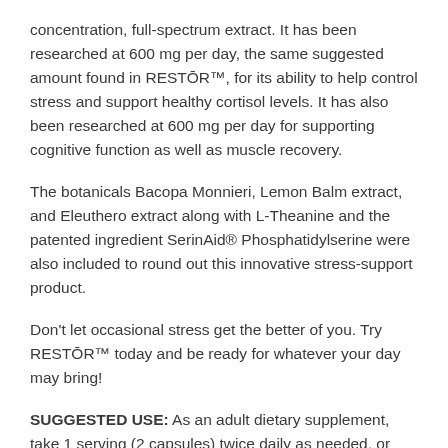concentration, full-spectrum extract. It has been researched at 600 mg per day, the same suggested amount found in RESTŌR™, for its ability to help control stress and support healthy cortisol levels. It has also been researched at 600 mg per day for supporting cognitive function as well as muscle recovery.
The botanicals Bacopa Monnieri, Lemon Balm extract, and Eleuthero extract along with L-Theanine and the patented ingredient SerinAid® Phosphatidylserine were also included to round out this innovative stress-support product.
Don't let occasional stress get the better of you. Try RESTŌR™ today and be ready for whatever your day may bring!
SUGGESTED USE: As an adult dietary supplement, take 1 serving (2 capsules) twice daily as needed, or recommended by your health-care professional.